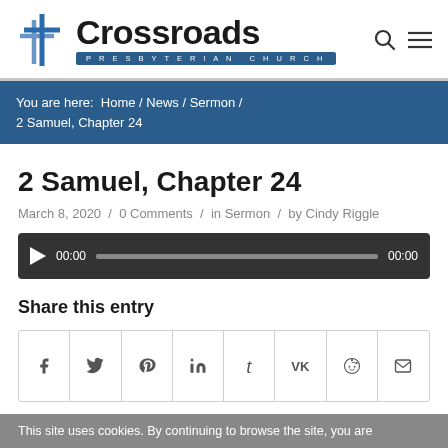[Figure (logo): Crossroads Presbyterian Church logo with cross icon and blue banner]
You are here: Home / News / Sermon / 2 Samuel, Chapter 24
2 Samuel, Chapter 24
March 8, 2020 / 0 Comments / in Sermon / by Cindy Riggle
[Figure (other): Audio player with play button, time display 00:00, progress bar, and end time 00:00]
Share this entry
[Figure (other): Social share icons: Facebook, Twitter, Pinterest, LinkedIn, Tumblr, VK, Reddit, Email]
This site uses cookies. By continuing to browse the site, you are